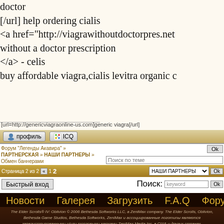doctor
[/url] help ordering cialis
<a href="http://viagrawithoutdoctorpres.net without a doctor prescription
</a> - celis
buy affordable viagra,cialis levitra organic c
[url=http://genericviagraonline-us.com]generic viagra[/url]
[Figure (screenshot): Profile and ICQ buttons on forum post action bar]
Форум "Легенды Акавира" » ПАРТНЕРСКАЯ » НАШИ ПАРТНЕРЫ » Обмен баннерами
Поиск по теме
Страница 2 из 2  «  1  2
НАШИ ПАРТНЕРЫ
Быстрый вход
Поиск:  keyword
Новости   Галерея   Загрузить   F.A.Q   Фору
The Elder Scrolls® IV: Oblivion © 2006 Bethesda Softworks LLC, a ZeniMax company. The Elder Scrolls, Oblivion, Bethesda Game Studios, Bethesda Softworks, ZeniMax и ассоциированные логотипы являются зарегистрированными и/или торговыми марками ZeniMax Media Inc. в США и других странах. Легенды Акавира © 2009-2010 Группа разработчиков SG. Все права защищены. Используются технологии: RAD Game Tools, SpeedTree, Havok Sim, Modder's Muse, TES4 Dialog File Creator, BSA Commander. Сайт оптимизирован под разрешение экрана 1024x768 (идеальное отображение - 1440x900). Используются технологии uCoz